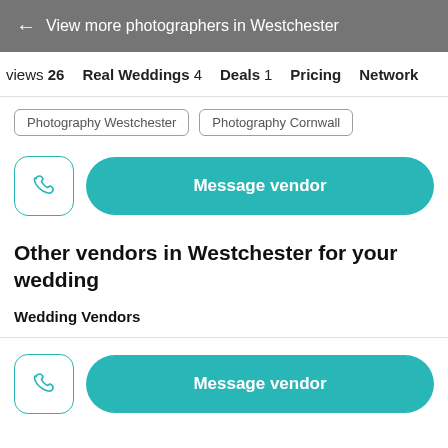← View more photographers in Westchester
views 26   Real Weddings 4   Deals 1   Pricing   Network
Photography Westchester
Photography Cornwall
Message vendor
Other vendors in Westchester for your wedding
Wedding Vendors
Message vendor